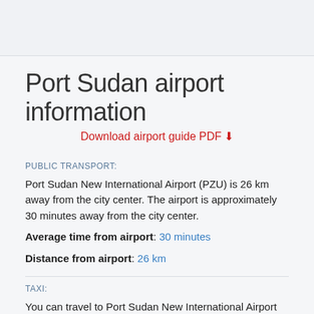Port Sudan airport information
Download airport guide PDF⬇
PUBLIC TRANSPORT:
Port Sudan New International Airport (PZU) is 26 km away from the city center. The airport is approximately 30 minutes away from the city center.
Average time from airport: 30 minutes
Distance from airport: 26 km
TAXI:
You can travel to Port Sudan New International Airport from the city center in 30 minutes with taxi. The price begins from around 5 USD.